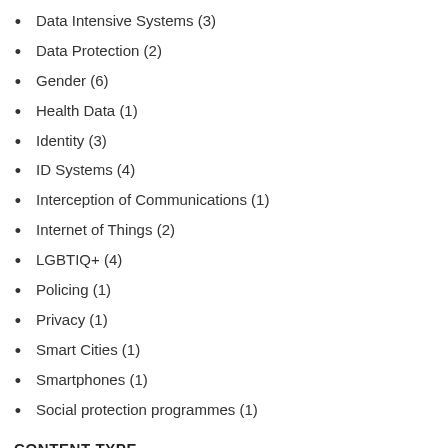Data Intensive Systems (3)
Data Protection (2)
Gender (6)
Health Data (1)
Identity (3)
ID Systems (4)
Interception of Communications (1)
Internet of Things (2)
LGBTIQ+ (4)
Policing (1)
Privacy (1)
Smart Cities (1)
Smartphones (1)
Social protection programmes (1)
CONTENT TYPE
Educational (5)
Examples (5)